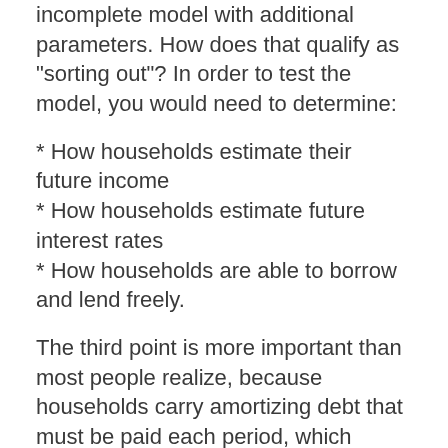incomplete model with additional parameters. How does that qualify as "sorting out"? In order to test the model, you would need to determine:
* How households estimate their future income
* How households estimate future interest rates
* How households are able to borrow and lend freely.
The third point is more important than most people realize, because households carry amortizing debt that must be paid each period, which means that households